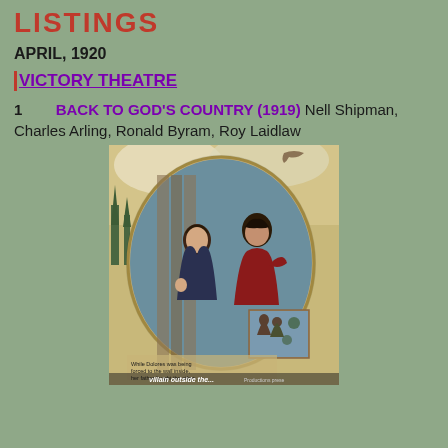LISTINGS
APRIL, 1920
VICTORY THEATRE
1    BACK TO GOD'S COUNTRY (1919) Nell Shipman, Charles Arling, Ronald Byram, Roy Laidlaw
[Figure (illustration): Movie poster for Back to God's Country (1919) showing a man in a red cape and a woman in dark clothing facing each other dramatically, with a smaller inset image of two figures fighting outdoors, and text at the bottom reading 'While Dolores was being forced to the wall inside, her father fought the other villain outside the...']